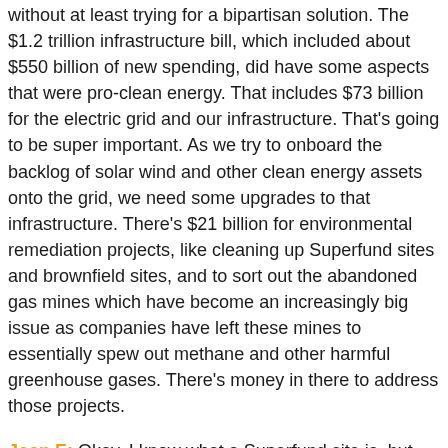without at least trying for a bipartisan solution. The $1.2 trillion infrastructure bill, which included about $550 billion of new spending, did have some aspects that were pro-clean energy. That includes $73 billion for the electric grid and our infrastructure. That's going to be super important. As we try to onboard the backlog of solar wind and other clean energy assets onto the grid, we need some upgrades to that infrastructure. There's $21 billion for environmental remediation projects, like cleaning up Superfund sites and brownfield sites, and to sort out the abandoned gas mines which have become an increasingly big issue as companies have left these mines to essentially spew out methane and other harmful greenhouse gases. There's money in there to address those projects.
Joan E: Okay, I know what a Superfund site is, but what is a brownfield site?
Eric P: It's also a contaminated site. They're almost